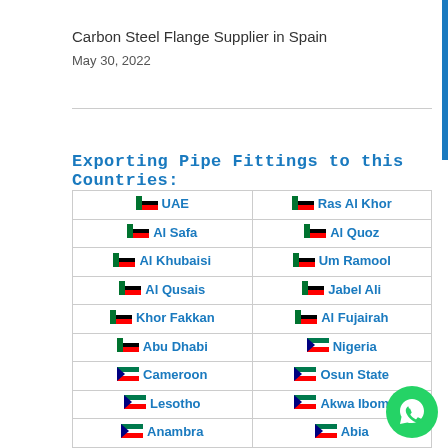Carbon Steel Flange Supplier in Spain
May 30, 2022
Exporting Pipe Fittings to this Countries:
| Col1 | Col2 |
| --- | --- |
| UAE | Ras Al Khor |
| Al Safa | Al Quoz |
| Al Khubaisi | Um Ramool |
| Al Qusais | Jabel Ali |
| Khor Fakkan | Al Fujairah |
| Abu Dhabi | Nigeria |
| Cameroon | Osun State |
| Lesotho | Akwa Ibom |
| Anambra | Abia |
| Lagos | Kenya |
| Mauritius | Seychelles |
| Tunisia | Algeria |